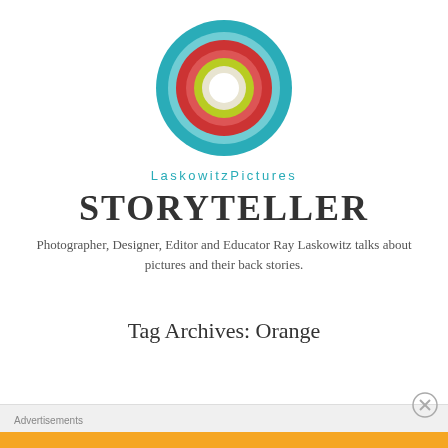[Figure (logo): Circular concentric rings logo: outer teal/turquoise ring, inner rings of red/coral, light green/yellow-green, white center circle, forming a target/bullseye style logo for LaskowitzPictures]
LaskowitzPictures
STORYTELLER
Photographer, Designer, Editor and Educator Ray Laskowitz talks about pictures and their back stories.
Tag Archives: Orange
Advertisements